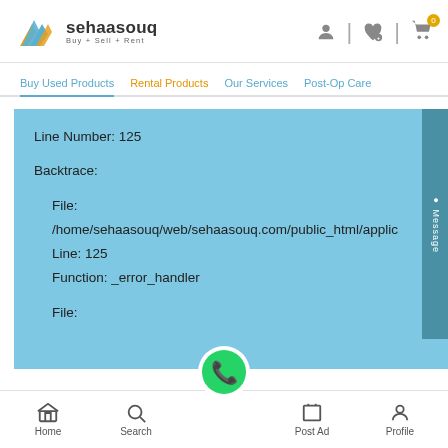[Figure (logo): Sehaasouq logo with blue/yellow chevron icon and text 'sehaasouq Buy + Sell + Rent']
sehaasouq Buy + Sell + Rent
Buy Used Products | Rental Products | Our Services | Post-Op Care
Line Number: 125

Backtrace:

  File:
  /home/sehaasouq/web/sehaasouq.com/public_html/applic
  Line: 125
  Function: _error_handler

  File:
Home | Search | Post Ad | Profile